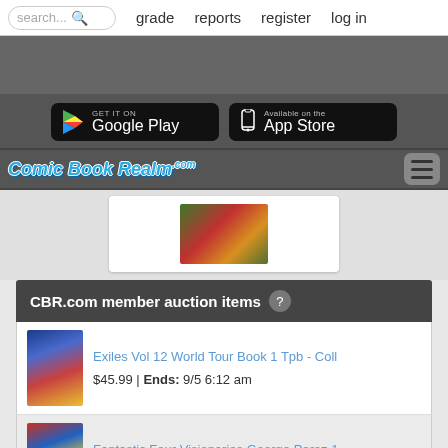search... grade reports register log in
[Figure (screenshot): Google Play and App Store download buttons on dark background]
[Figure (logo): Comic Book Realm .com logo with hamburger menu icon]
[Figure (photo): Comic book cover thumbnail preview card]
CBR.com member auction items ?
Exiles Vol 12 World Tour Book 1 Tpb - Coll
$45.99 | Ends: 9/5 6:12 am
Fantastic Four Visionaries George Perez 1
$64.99 | Ends: 9/7 5:38 pm
Origins Of Marvel Comics By Stan Lee 197